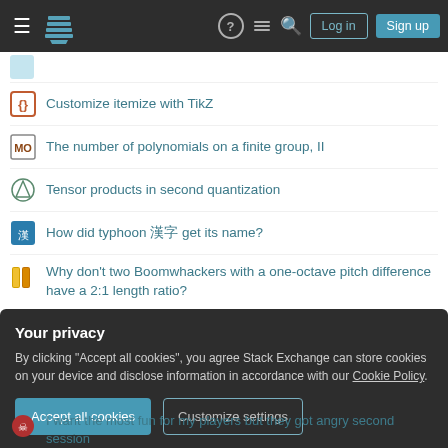Stack Exchange navigation bar with hamburger menu, logo, help, chat, search icons, Log in and Sign up buttons
Customize itemize with TikZ
The number of polynomials on a finite group, II
Tensor products in second quantization
How did typhoon 漢字 get its name?
Why don't two Boomwhackers with a one-octave pitch difference have a 2:1 length ratio?
Find the nth Mersenne Prime
Is URL rewriting in e-mail a sound security practice?
A 1-D labyrinth
Your privacy
By clicking "Accept all cookies", you agree Stack Exchange can store cookies on your device and disclose information in accordance with our Cookie Policy.
I want the most fun for my players but they got angry second session because of combat. Any tips?